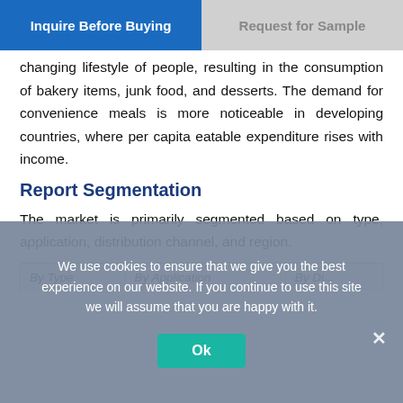Inquire Before Buying | Request for Sample
changing lifestyle of people, resulting in the consumption of bakery items, junk food, and desserts. The demand for convenience meals is more noticeable in developing countries, where per capita eatable expenditure rises with income.
Report Segmentation
The market is primarily segmented based on type, application, distribution channel, and region.
| By Type | By Application | By Di... |
| --- | --- | --- |
We use cookies to ensure that we give you the best experience on our website. If you continue to use this site we will assume that you are happy with it.